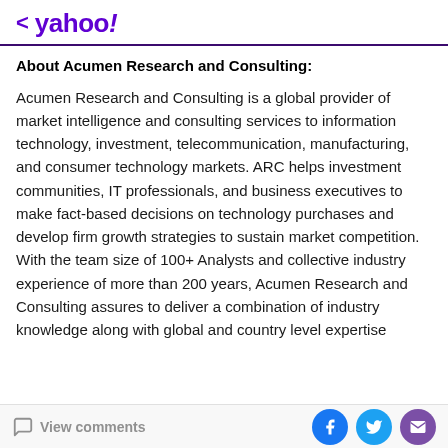< yahoo!
About Acumen Research and Consulting:
Acumen Research and Consulting is a global provider of market intelligence and consulting services to information technology, investment, telecommunication, manufacturing, and consumer technology markets. ARC helps investment communities, IT professionals, and business executives to make fact-based decisions on technology purchases and develop firm growth strategies to sustain market competition. With the team size of 100+ Analysts and collective industry experience of more than 200 years, Acumen Research and Consulting assures to deliver a combination of industry knowledge along with global and country level expertise
View comments